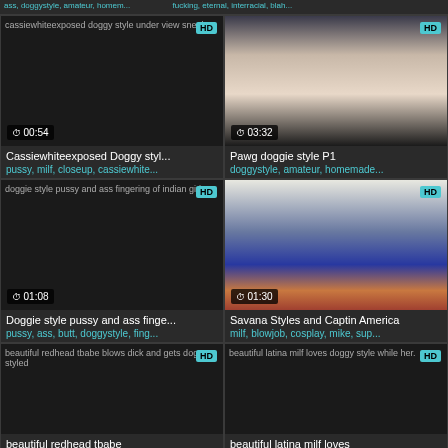[Figure (screenshot): Video thumbnail grid showing adult video listings with thumbnails, HD badges, duration timers, titles and tags]
cassiewhiteexposed doggy style under view sneak | HD | 00:54
Cassiewhiteexposed Doggy styl... | pussy, milf, closeup, cassiewhite...
HD | 03:32
Pawg doggie style P1 | doggystyle, amateur, homemade...
doggie style pussy and ass fingering of indian girl | HD | 01:08
Doggie style pussy and ass finge... | pussy, ass, butt, doggystyle, fing...
HD | 01:30
Savana Styles and Captin America | milf, blowjob, cosplay, mike, sup...
beautiful redhead tbabe blows dick and gets doggy styled | HD
beautiful latina milf loves doggy style while her. | HD